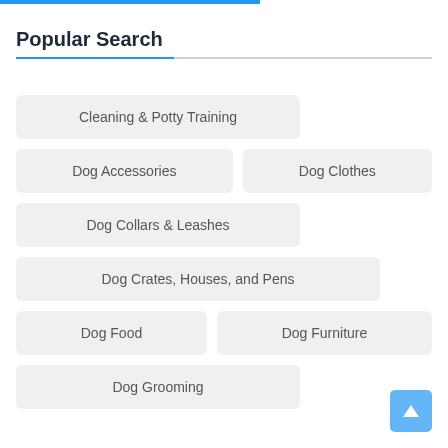Popular Search
Cleaning & Potty Training
Dog Accessories
Dog Clothes
Dog Collars & Leashes
Dog Crates, Houses, and Pens
Dog Food
Dog Furniture
Dog Grooming